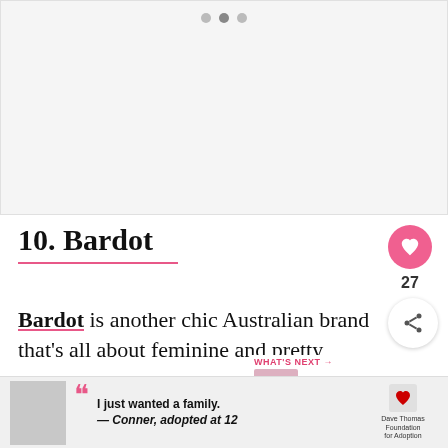[Figure (photo): Large image area with three dots (carousel indicator) at top]
10. Bardot
Bardot is another chic Australian brand that's all about feminine and pretty
If you're into dainty lace pieces, you'll d...
[Figure (photo): What's Next thumbnail showing a woman in a pink dress, captioned '15 Cutest Dresses to...']
[Figure (advertisement): Dave Thomas Foundation for Adoption ad: boy photo, quote 'I just wanted a family. — Conner, adopted at 12']